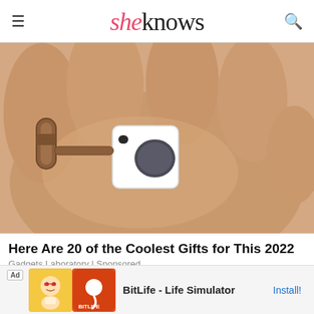sheknows
[Figure (photo): A small white electronic device with a leather strap loop resting in an open human hand. The device appears to be a compact gadget or tracker.]
Here Are 20 of the Coolest Gifts for This 2022
Gadgets Laboratory | Sponsored
[Figure (screenshot): Partial view of a second article or banner with blue background tones.]
[Figure (infographic): Ad banner: BitLife - Life Simulator. Shows cartoon character and BitLife app logo with Install button.]